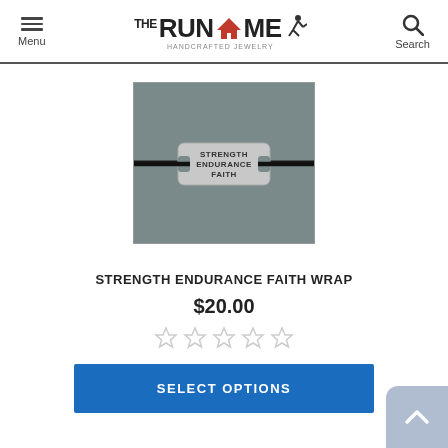Menu | THE RUN HOME (Handcrafted Jewelry) | Search
[Figure (photo): Close-up photo of a silver metal wrap bracelet charm with notched ends, threaded on a dark cord, engraved with the words STRENGTH ENDURANCE FAITH, on a dark grey background.]
STRENGTH ENDURANCE FAITH WRAP
$20.00
[Figure (other): Five empty star rating icons (0 out of 5 stars)]
SELECT OPTIONS